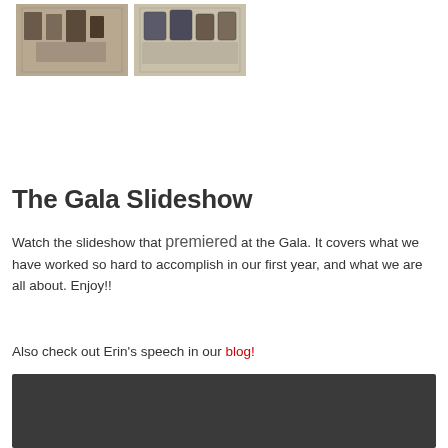[Figure (photo): Two small photos at top: left shows gift/merchandise items on a table, right shows boxed items/accessories on display]
The Gala Slideshow
Watch the slideshow that premiered at the Gala. It covers what we have worked so hard to accomplish in our first year, and what we are all about. Enjoy!!
Also check out Erin's speech in our blog!
[Figure (screenshot): Dark video player embed area]